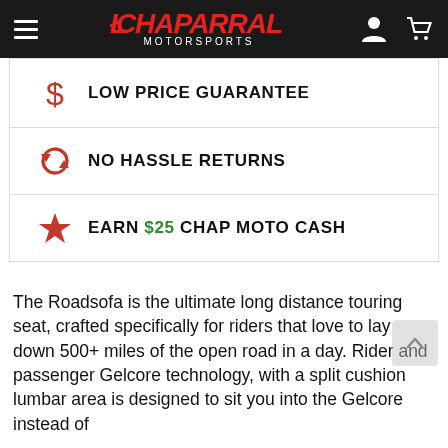Chaparral Motorsports
LOW PRICE GUARANTEE
NO HASSLE RETURNS
EARN $25 CHAP MOTO CASH
The Roadsofa is the ultimate long distance touring seat, crafted specifically for riders that love to lay down 500+ miles of the open road in a day. Rider and passenger Gelcore technology, with a split cushion lumbar area is designed to sit you into the Gelcore instead of